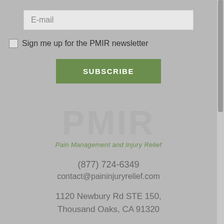E-mail
Sign me up for the PMIR newsletter
SUBSCRIBE
[Figure (logo): PMIR Pain Management and Injury Relief logo — large grey letters PMIR with green italic tagline below]
(877) 724-6349
contact@paininjuryrelief.com
1120 Newbury Rd STE 150, Thousand Oaks, CA 91320